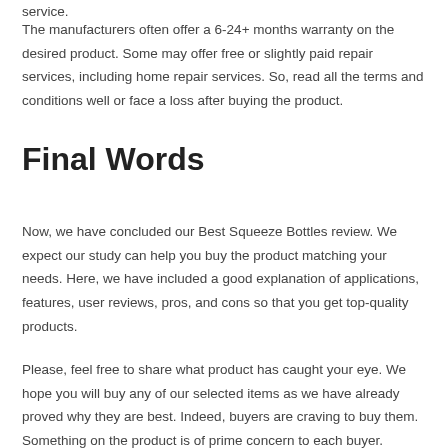service.
The manufacturers often offer a 6-24+ months warranty on the desired product. Some may offer free or slightly paid repair services, including home repair services. So, read all the terms and conditions well or face a loss after buying the product.
Final Words
Now, we have concluded our Best Squeeze Bottles review. We expect our study can help you buy the product matching your needs. Here, we have included a good explanation of applications, features, user reviews, pros, and cons so that you get top-quality products.
Please, feel free to share what product has caught your eye. We hope you will buy any of our selected items as we have already proved why they are best. Indeed, buyers are craving to buy them. Something on the product is of prime concern to each buyer.